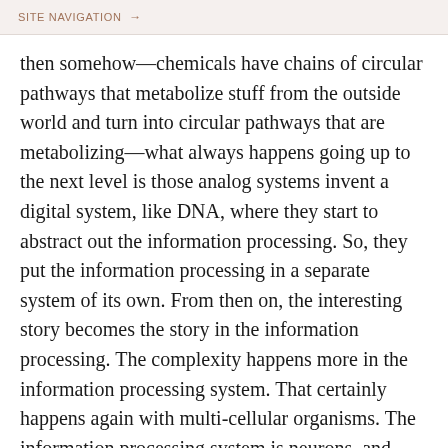SITE NAVIGATION →
then somehow—chemicals have chains of circular pathways that metabolize stuff from the outside world and turn into circular pathways that are metabolizing—what always happens going up to the next level is those analog systems invent a digital system, like DNA, where they start to abstract out the information processing. So, they put the information processing in a separate system of its own. From then on, the interesting story becomes the story in the information processing. The complexity happens more in the information processing system. That certainly happens again with multi-cellular organisms. The information processing system is neurons, and they eventually go from just a bunch of cells to having this special information processing system, and that's where the action is in the brains and